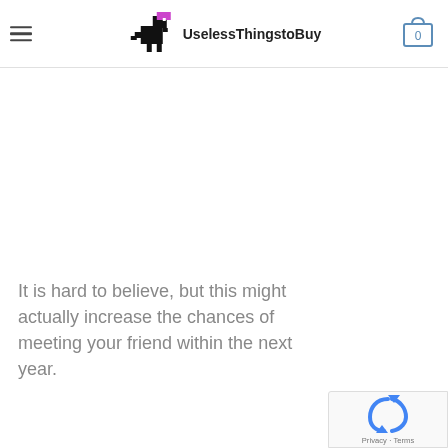UselessThingstoBuy
It is hard to believe, but this might actually increase the chances of meeting your friend within the next year.